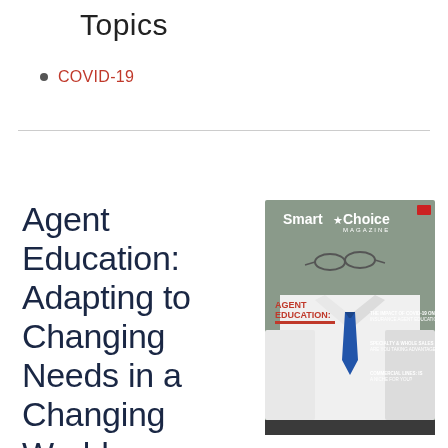Topics
COVID-19
Agent Education: Adapting to Changing Needs in a Changing World
[Figure (photo): Cover of Smart Choice Magazine featuring Agent Education: Adapting to Changing Needs in a Changing World, with a man in a white shirt and blue tie on the cover.]